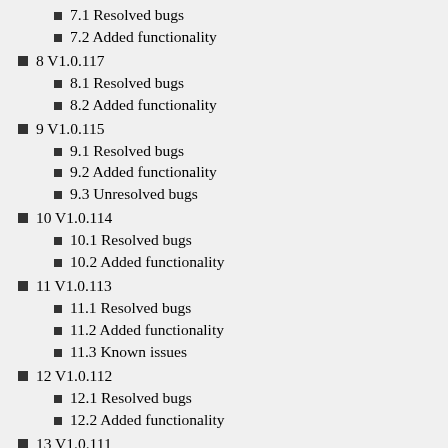7.1  Resolved bugs
7.2  Added functionality
8  V1.0.117
8.1  Resolved bugs
8.2  Added functionality
9  V1.0.115
9.1  Resolved bugs
9.2  Added functionality
9.3  Unresolved bugs
10  V1.0.114
10.1  Resolved bugs
10.2  Added functionality
11  V1.0.113
11.1  Resolved bugs
11.2  Added functionality
11.3  Known issues
12  V1.0.112
12.1  Resolved bugs
12.2  Added functionality
13  V1.0.111
13.1  Resolved bugs
13.2  Added functionality
14  V1.0.110
14.1  Resolved bugs
14.2  Added functionality